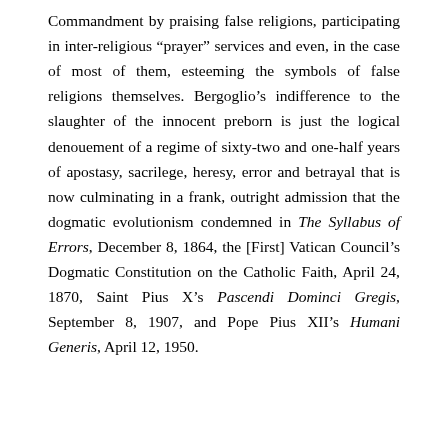Commandment by praising false religions, participating in inter-religious “prayer” services and even, in the case of most of them, esteeming the symbols of false religions themselves. Bergoglio’s indifference to the slaughter of the innocent preborn is just the logical denouement of a regime of sixty-two and one-half years of apostasy, sacrilege, heresy, error and betrayal that is now culminating in a frank, outright admission that the dogmatic evolutionism condemned in The Syllabus of Errors, December 8, 1864, the [First] Vatican Council’s Dogmatic Constitution on the Catholic Faith, April 24, 1870, Saint Pius X’s Pascendi Dominci Gregis, September 8, 1907, and Pope Pius XII’s Humani Generis, April 12, 1950.